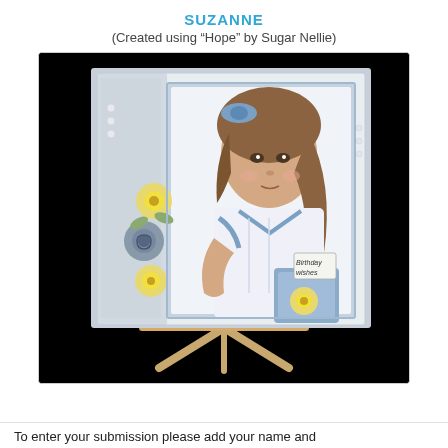SUZANNE
(Created using “Hope” by Sugar Nellie)
[Figure (photo): A handmade greeting card displayed on a small wooden easel. The card features an illustration of a young girl with long curly brown hair, wearing a blue and white outfit with a bow. The card is decorated with yellow and blue-grey paper flowers arranged along the left side. The background is black.]
To enter your submission please add your name and